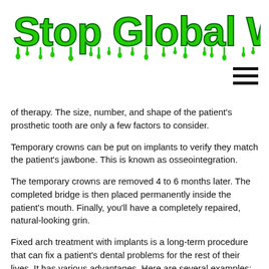Stop Global Warming
of therapy. The size, number, and shape of the patient's prosthetic tooth are only a few factors to consider.
Temporary crowns can be put on implants to verify they match the patient's jawbone. This is known as osseointegration.
The temporary crowns are removed 4 to 6 months later. The completed bridge is then placed permanently inside the patient's mouth. Finally, you'll have a completely repaired, natural-looking grin.
Fixed arch treatment with implants is a long-term procedure that can fix a patient's dental problems for the rest of their lives. It has various advantages. Here are several examples:
The patient's self-esteem and overall quality of life improve.
It is feasible to preserve the appearance of the face while avoiding